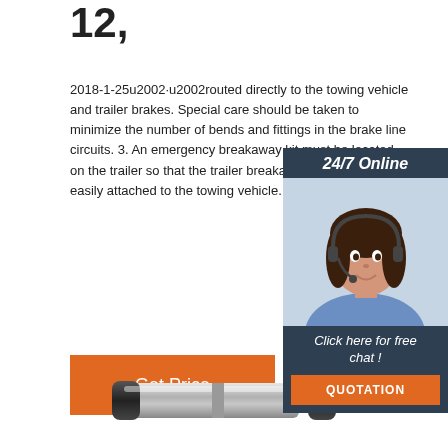12,
2018-1-25u2002·u2002routed directly to the towing vehicle and trailer brakes. Special care should be taken to minimize the number of bends and fittings in the brake line circuits. 3. An emergency breakaway kit must be located on the trailer so that the trailer breakaway cable can be easily attached to the towing vehicle. 4.
[Figure (infographic): 24/7 Online chat widget with customer service representative photo, 'Click here for free chat!' text and orange QUOTATION button]
[Figure (photo): Product photo of a metal coupling or connector part at the bottom of the page]
Get Price